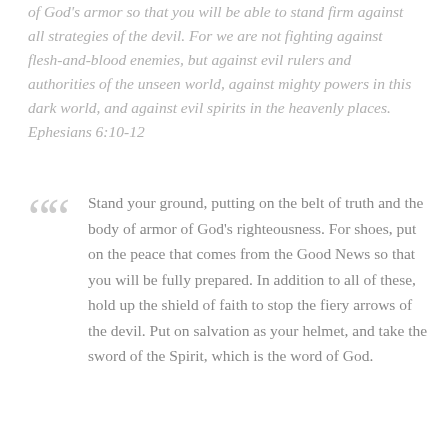of God's armor so that you will be able to stand firm against all strategies of the devil. For we are not fighting against flesh-and-blood enemies, but against evil rulers and authorities of the unseen world, against mighty powers in this dark world, and against evil spirits in the heavenly places. Ephesians 6:10-12
Stand your ground, putting on the belt of truth and the body of armor of God's righteousness. For shoes, put on the peace that comes from the Good News so that you will be fully prepared. In addition to all of these, hold up the shield of faith to stop the fiery arrows of the devil. Put on salvation as your helmet, and take the sword of the Spirit, which is the word of God.